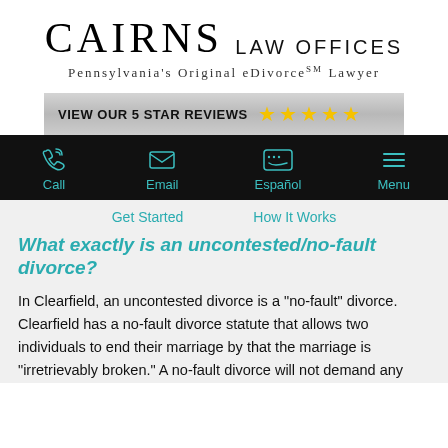CAIRNS LAW OFFICES
Pennsylvania's Original eDivorce℠ Lawyer
[Figure (infographic): Silver gradient banner with text VIEW OUR 5 STAR REVIEWS and five gold stars]
[Figure (infographic): Black navigation bar with teal icons and labels: Call, Email, Español, Menu]
Get Started    How It Works
What exactly is an uncontested/no-fault divorce?
In Clearfield, an uncontested divorce is a "no-fault" divorce. Clearfield has a no-fault divorce statute that allows two individuals to end their marriage by that the marriage is "irretrievably broken." A no-fault divorce will not demand any